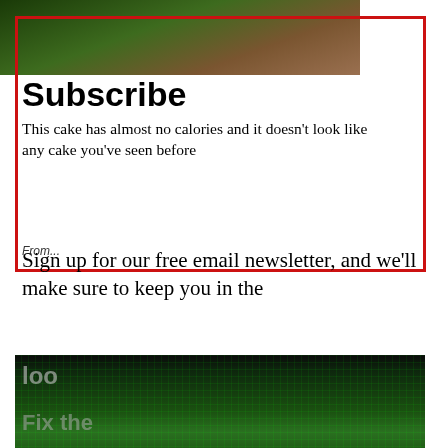[Figure (photo): Top background photo showing wooden surface and green foliage]
Subscribe
This cake has almost no calories and it doesn't look like any cake you've seen before
Fr... (partially obscured from/caption text)
Sign up for our free email newsletter, and we'll make sure to keep you in the
[Figure (photo): Circuit board close-up photo]
Promoted X
[Figure (photo): Four women in yellow shirts holding cleaning equipment]
Cleaning Services For Seniors — You Won't Believe The Prices
🔥 6,635
[Figure (photo): Two people and a dog paddleboarding on a lake, illustrated style]
How Long Will Your $1 Million Last In Retirement?
🔥 847